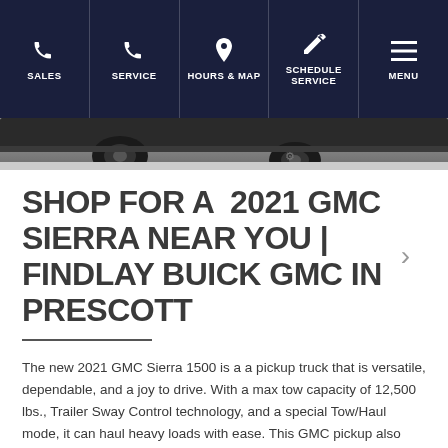SALES | SERVICE | HOURS & MAP | SCHEDULE SERVICE | MENU
[Figure (photo): Bottom portion of a dark vehicle visible above a light gray surface]
SHOP FOR A 2021 GMC SIERRA NEAR YOU | FINDLAY BUICK GMC IN PRESCOTT
The new 2021 GMC Sierra 1500 is a a pickup truck that is versatile, dependable, and a joy to drive. With a max tow capacity of 12,500 lbs., Trailer Sway Control technology, and a special Tow/Haul mode, it can haul heavy loads with ease. This GMC pickup also offers large footwells in the rear bumper, to help make access to the cargo bed